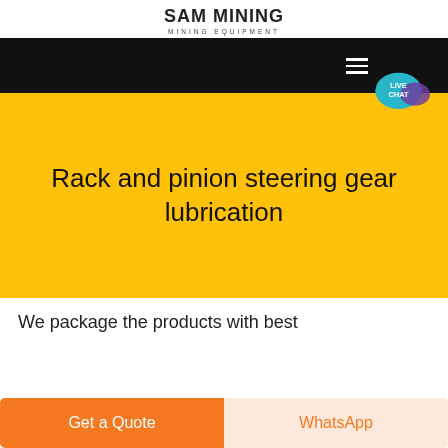SAM Mining MINING EQUIPMENT
[Figure (screenshot): Hero banner with black top bar and yellow background featuring the page title 'Rack and pinion steering gear lubrication', with a Live Chat badge in the top right corner]
Rack and pinion steering gear lubrication
We package the products with best
Get a Quote
WhatsApp